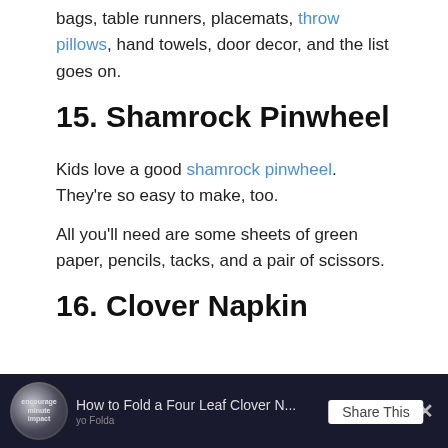bags, table runners, placemats, throw pillows, hand towels, door decor, and the list goes on.
15. Shamrock Pinwheel
Kids love a good shamrock pinwheel. They’re so easy to make, too.
All you’ll need are some sheets of green paper, pencils, tacks, and a pair of scissors.
16. Clover Napkin
[Figure (screenshot): Video player bar at the bottom showing 'How to Fold a Four Leaf Clover N...' with a circular thumbnail, share overlay, three-dot menu, and close button on a dark background.]